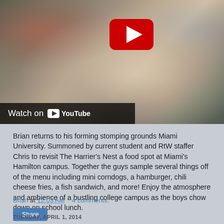[Figure (screenshot): YouTube video thumbnail showing a person with glasses and beard smiling, with a red YouTube play button overlay and 'Watch on YouTube' bar at bottom left]
Brian returns to his forming stomping grounds Miami University. Summoned by current student and RtW staffer Chris to revisit The Harrier's Nest a food spot at Miami's Hamilton campus. Together the guys sample several things off of the menu including mini corndogs, a hamburger, chili cheese fries, a fish sandwich, and more! Enjoy the atmosphere and ambience of a bustling college campus as the boys chow down on school lunch.
Brian at 12:03 AM    4 comments:
Share
TUESDAY, APRIL 1, 2014